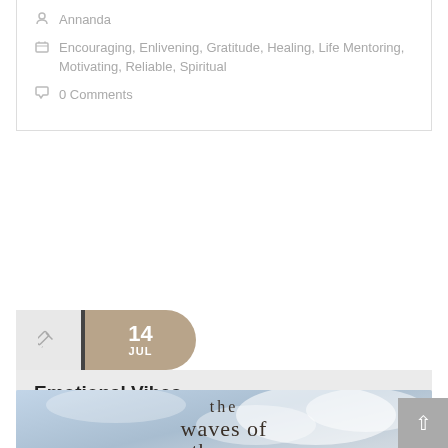Annanda
Encouraging, Enlivening, Gratitude, Healing, Life Mentoring, Motivating, Reliable, Spiritual
0 Comments
14 JUL
Emotional Vibes
[Figure (photo): Sky/clouds background with text overlay reading 'the waves of the sea help me']